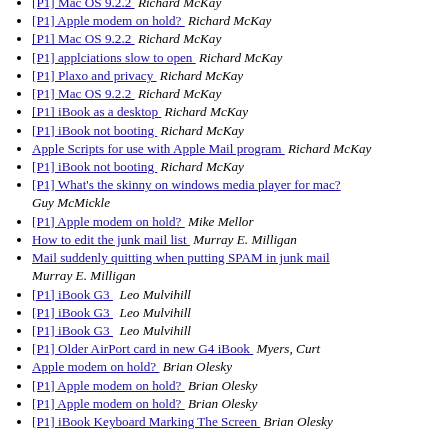[P1] Mac OS 9.2.2  Richard McKay
[P1] Apple modem on hold?  Richard McKay
[P1] Mac OS 9.2.2  Richard McKay
[P1] applciations slow to open  Richard McKay
[P1] Plaxo and privacy  Richard McKay
[P1] Mac OS 9.2.2  Richard McKay
[P1] iBook as a desktop  Richard McKay
[P1] iBook not booting  Richard McKay
Apple Scripts for use with Apple Mail program  Richard McKay
[P1] iBook not booting  Richard McKay
[P1] What's the skinny on windows media player for mac?  Guy McMickle
[P1] Apple modem on hold?  Mike Mellor
How to edit the junk mail list  Murray E. Milligan
Mail suddenly quitting when putting SPAM in junk mail  Murray E. Milligan
[P1] iBook G3  Leo Mulvihill
[P1] iBook G3  Leo Mulvihill
[P1] iBook G3  Leo Mulvihill
[P1] Older AirPort card in new G4 iBook  Myers, Curt
Apple modem on hold?  Brian Olesky
[P1] Apple modem on hold?  Brian Olesky
[P1] Apple modem on hold?  Brian Olesky
[P1] iBook Keyboard Marking The Screen  Brian Olesky